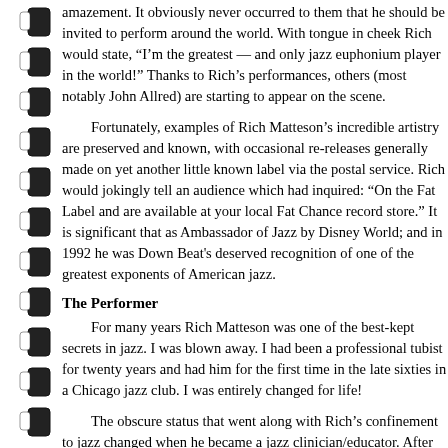amazement. It obviously never occurred to them that he should be invited to perform around the world. With tongue in cheek Rich would state, “I’m the greatest — and only jazz euphonium player in the world!” Thanks to Rich’s performances, others (most notably John Allred) are starting to appear on the scene.
Fortunately, examples of Rich Matteson’s incredible artistry are preserved and known, with occasional re-releases generally made on yet another little-known label via the postal service. Rich would jokingly tell an audience which had inquired: “On the Fat Label and are available at your local Fat Chance record store.” It is significant that as Ambassador of Jazz by Disney World; and in 1992 he was Down Beat’s... deserved recognition of one of the greatest exponents of American jazz.
The Performer
For many years Rich Matteson was one of the best-kept secrets in jazz. I was blown away. I had been a professional tubist for twenty years and had never heard him for the first time in the late sixties in a Chicago jazz club. I was entirely changed for life!
The obscure status that went along with Rich’s confinement to jazz changed when he became a jazz clinician/educator. After our first meeting it was arranged to play the same conference where Rich served in a similar capacity. We had a great time together thereafter. In the fall of 1975 we were featured artists at a wonderful Tuba Symposium at State College in Chadron, Nebraska. On the final evening, after listening to the Matteson Ensemble play at the closing reception, we pondered ways to work together. Rich discussed content for the First International Brass Congress in Montreux, Switzerland, with a group of three euphoniums and three tubas with rhythm section to debut there. He spoke about Ashley Alexander and Jack Petersen, whom he volunteered to recommend.